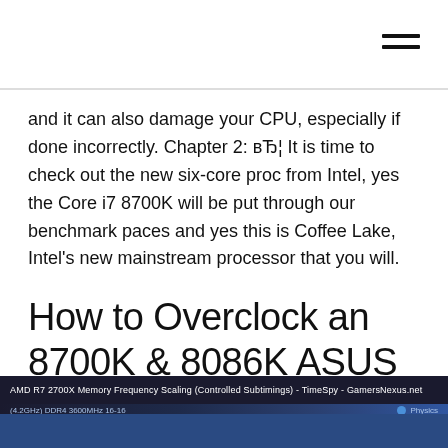and it can also damage your CPU, especially if done incorrectly. Chapter 2: вЂ¦ It is time to check out the new six-core proc from Intel, yes the Core i7 8700K will be put through our benchmark paces and yes this is Coffee Lake, Intel's new mainstream processor that you will.
How to Overclock an 8700K & 8086K ASUS Maximus X and
[Figure (screenshot): Screenshot of a bar chart titled 'AMD R7 2700X Memory Frequency Scaling (Controlled Subtimings) - TimeSpy - GamersNexus.net' with a blue color scheme on dark background, partially visible.]